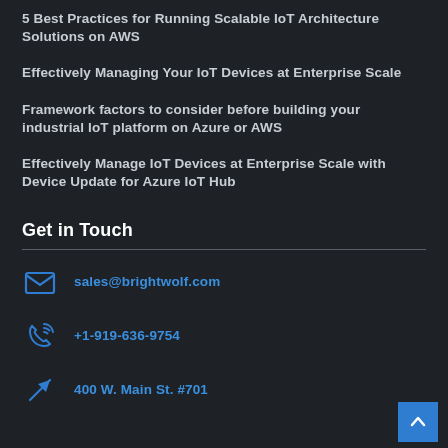5 Best Practices for Running Scalable IoT Architecture Solutions on AWS
Effectively Managing Your IoT Devices at Enterprise Scale
Framework factors to consider before building your industrial IoT platform on Azure or AWS
Effectively Manage IoT Devices at Enterprise Scale with Device Update for Azure IoT Hub
Get in Touch
sales@brightwolf.com
+1-919-636-9754
400 W. Main St. #701